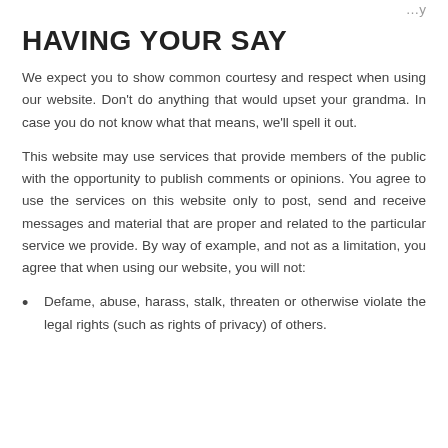…y
HAVING YOUR SAY
We expect you to show common courtesy and respect when using our website. Don't do anything that would upset your grandma. In case you do not know what that means, we'll spell it out.
This website may use services that provide members of the public with the opportunity to publish comments or opinions. You agree to use the services on this website only to post, send and receive messages and material that are proper and related to the particular service we provide. By way of example, and not as a limitation, you agree that when using our website, you will not:
Defame, abuse, harass, stalk, threaten or otherwise violate the legal rights (such as rights of privacy) of others.